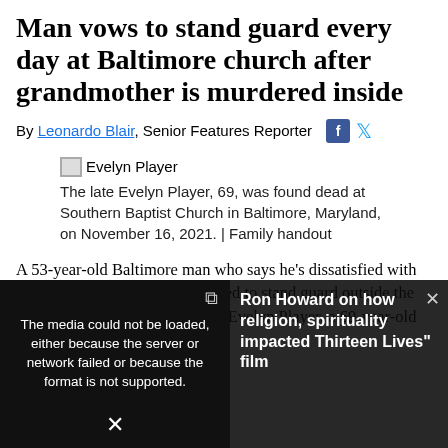Man vows to stand guard every day at Baltimore church after grandmother is murdered inside
By Leonardo Blair, Senior Features Reporter
[Figure (photo): Broken image icon labeled Evelyn Player]
The late Evelyn Player, 69, was found dead at Southern Baptist Church in Baltimore, Maryland, on November 16, 2021. | Family handout
A 53-year-old Baltimore man who says he's dissatisfied with the mayor's crime plan has vowed to stand guard outside the Southern Baptist Church where Evelyn Player, a 69-year-old church worker,
[Figure (screenshot): Video player overlay: left side shows media error message 'The media could not be loaded, either because the server or network failed or because the format is not supported.' Right side shows title 'Ron Howard on how religion, spirituality impacted Thirteen Lives film']